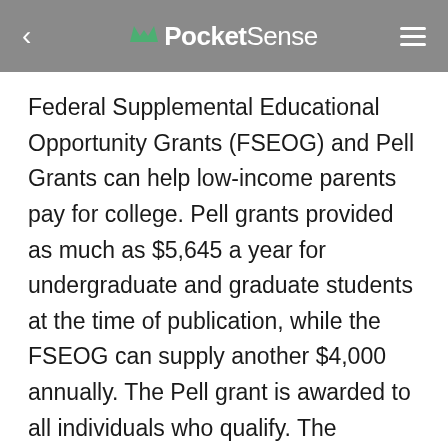PocketSense
Federal Supplemental Educational Opportunity Grants (FSEOG) and Pell Grants can help low-income parents pay for college. Pell grants provided as much as $5,645 a year for undergraduate and graduate students at the time of publication, while the FSEOG can supply another $4,000 annually. The Pell grant is awarded to all individuals who qualify. The FSEOG is limited and not all colleges take advantage of this program. Those that do receive a set amount of money each year.